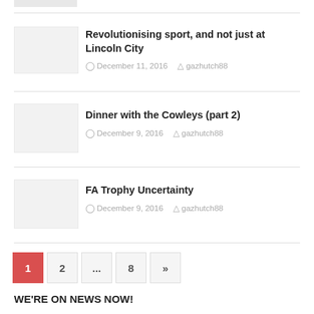[Figure (photo): Thumbnail image placeholder at top, partially visible]
Revolutionising sport, and not just at Lincoln City
December 11, 2016   gazhutch88
Dinner with the Cowleys (part 2)
December 9, 2016   gazhutch88
FA Trophy Uncertainty
December 9, 2016   gazhutch88
1  2  ...  8  »
WE'RE ON NEWS NOW!